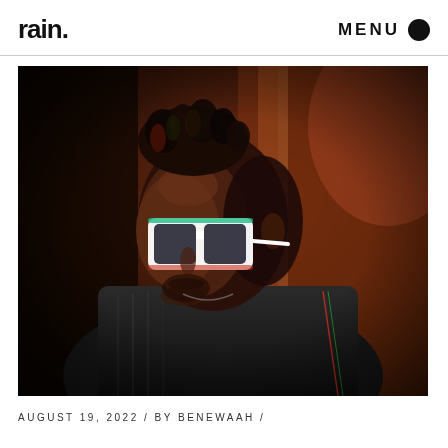rain. MENU
[Figure (photo): Close-up portrait of a Black man wearing large white rectangular sunglasses with green/teal trim, wearing a dark beaded jacket, against a dark warm reddish-brown background with dramatic lighting. He has short twisted/coiled hair.]
AUGUST 19, 2022 / BY BENEWAAH /